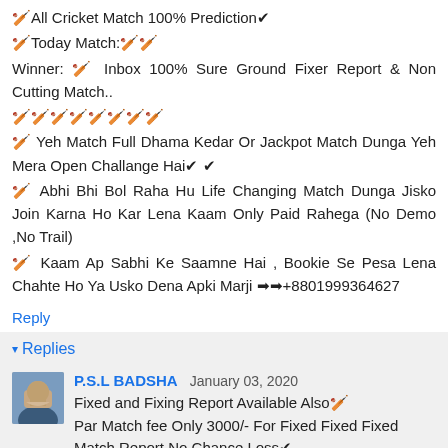🏏All Cricket Match 100% Prediction✔
🏏Today Match:🏏🏏
Winner: 🏏 Inbox 100% Sure Ground Fixer Report & Non Cutting Match..
🏏🏏🏏🏏🏏🏏🏏🏏
🏏 Yeh Match Full Dhama Kedar Or Jackpot Match Dunga Yeh Mera Open Challange Hai✔✔
🏏 Abhi Bhi Bol Raha Hu Life Changing Match Dunga Jisko Join Karna Ho Kar Lena Kaam Only Paid Rahega (No Demo ,No Trail)
🏏 Kaam Ap Sabhi Ke Saamne Hai , Bookie Se Pesa Lena Chahte Ho Ya Usko Dena Apki Marji ➡➡+8801999364627
Reply
▾ Replies
P.S.L BADSHA  January 03, 2020
Fixed and Fixing Report Available Also🏏
Par Match fee Only 3000/- For Fixed Fixed Fixed Match Report No Chance Loss✔
🏏What's app ➡➡+8801999364627➡➡
🏏All Cricket Match 100% Prediction✔